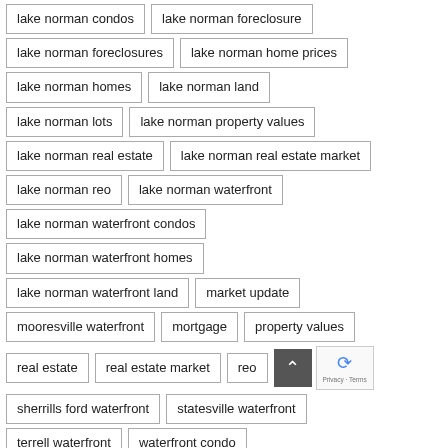lake norman condos
lake norman foreclosure
lake norman foreclosures
lake norman home prices
lake norman homes
lake norman land
lake norman lots
lake norman property values
lake norman real estate
lake norman real estate market
lake norman reo
lake norman waterfront
lake norman waterfront condos
lake norman waterfront homes
lake norman waterfront land
market update
mooresville waterfront
mortgage
property values
real estate
real estate market
reo
sherrills ford waterfront
statesville waterfront
terrell waterfront
waterfront condo